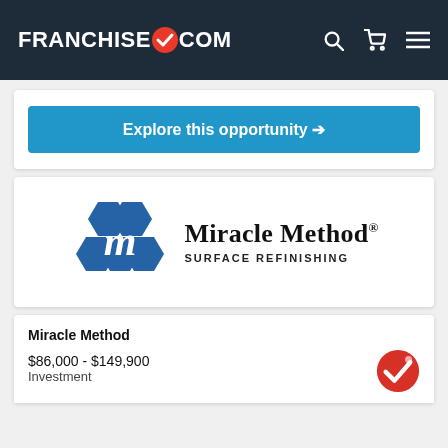FRANCHISEGRADE✓.COM
Explore this opportunity →
[Figure (logo): Miracle Method Surface Refinishing logo — blue hexagonal honeycomb pattern with stylized cursive M, next to bold text 'Miracle Method® SURFACE REFINISHING']
Miracle Method
$86,000 - $149,900 Investment